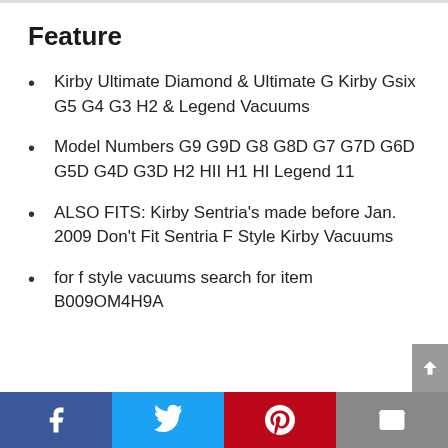Feature
Kirby Ultimate Diamond & Ultimate G Kirby Gsix G5 G4 G3 H2 & Legend Vacuums
Model Numbers G9 G9D G8 G8D G7 G7D G6D G5D G4D G3D H2 HII H1 HI Legend 11
ALSO FITS: Kirby Sentria’s made before Jan. 2009 Don’t Fit Sentria F Style Kirby Vacuums
for f style vacuums search for item B009OM4H9A
Facebook | Twitter | Pinterest | Email